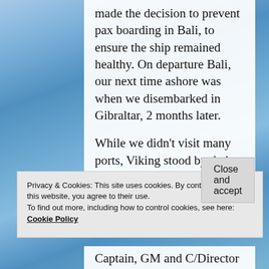made the decision to prevent pax boarding in Bali, to ensure the ship remained healthy. On departure Bali, our next time ashore was when we disembarked in Gibraltar, 2 months later.
While we didn't visit many ports, Viking stood by their policy of the pax/crew safety is their first consideration, as they made a number
Privacy & Cookies: This site uses cookies. By continuing to use this website, you agree to their use.
To find out more, including how to control cookies, see here:
Cookie Policy
Close and accept
Captain, GM and C/Director